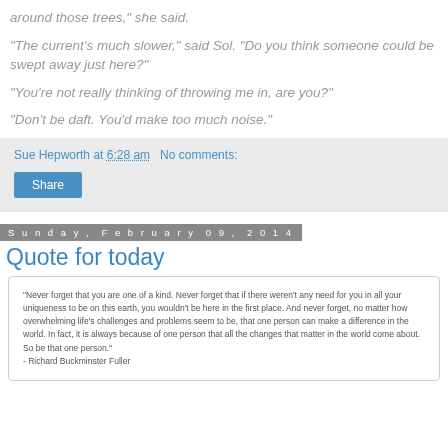around those trees," she said.
"The current's much slower," said Sol. "Do you think someone could be swept away just here?"
"You're not really thinking of throwing me in, are you?"
"Don't be daft. You'd make too much noise."
Sue Hepworth at 6:28 am   No comments:
Sunday, February 09, 2014
Quote for today
[Figure (other): Quote image with text: Never forget that you are one of a kind. Never forget that if there weren't any need for you in all your uniqueness to be on this earth, you wouldn't be here in the first place. And never forget, no matter how overwhelming life's challenges and problems seem to be, that one person can make a difference in the world. In fact, it is always because of one person that all the changes that matter in the world come about. So be that one person. - Richard Buckminster Fuller]